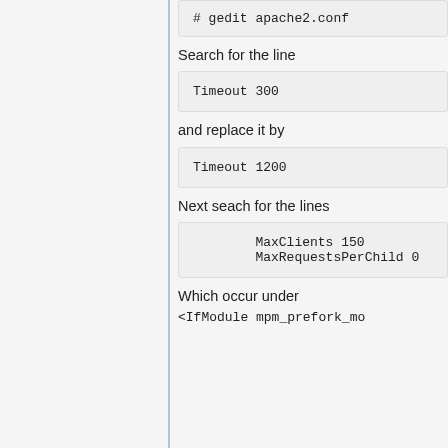# gedit apache2.conf
Search for the line
Timeout 300
and replace it by
Timeout 1200
Next seach for the lines
MaxClients 150
        MaxRequestsPerChild 0
Which occur under
<IfModule mpm_prefork_module>